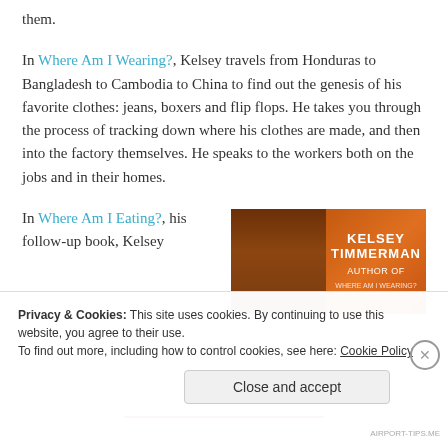them.
In Where Am I Wearing?, Kelsey travels from Honduras to Bangladesh to Cambodia to China to find out the genesis of his favorite clothes: jeans, boxers and flip flops. He takes you through the process of tracking down where his clothes are made, and then into the factory themselves. He speaks to the workers both on the jobs and in their homes.
In Where Am I Eating?, his follow-up book, Kelsey
[Figure (photo): Book cover for Kelsey Timmerman's book, showing 'KELSEY TIMMERMAN' text on an orange/brown cover with subtitle text]
Privacy & Cookies: This site uses cookies. By continuing to use this website, you agree to their use. To find out more, including how to control cookies, see here: Cookie Policy
Close and accept